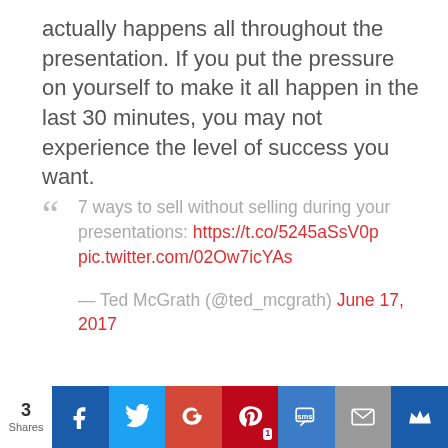actually happens all throughout the presentation. If you put the pressure on yourself to make it all happen in the last 30 minutes, you may not experience the level of success you want.
" 7 ways to sell without selling during your presentations: https://t.co/5245aSsV0p pic.twitter.com/02Ow7icYAs — Ted McGrath (@ted_mcgrath) June 17, 2017
3 Shares | Facebook | Twitter | Google+ | Pinterest 1 | SMS | Email | Crown